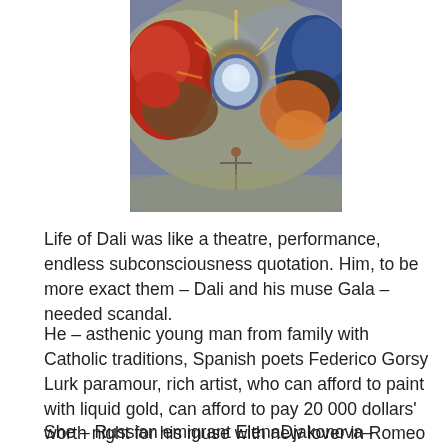[Figure (photo): A colorful surrealist painting showing large figures reaching from both sides toward a radiant golden circle in the center. A small crucified figure appears at the bottom. Rich colors of red, gold, blue, and orange.]
Life of Dali was like a theatre, performance, endless subconsciousness quotation. Him, to be more exact them – Dali and his muse Gala – needed scandal.
He – asthenic young man from family with Catholic traditions, Spanish poets Federico Gorsy Lurk paramour, rich artist, who can afford to paint with liquid gold, can afford to pay 20 000 dollars' worth night for his muse with new lover in Romeo and Juliet historical bed in Verona.
She – Russian emigrant ElenaDjakonova–Devulina, franche poets